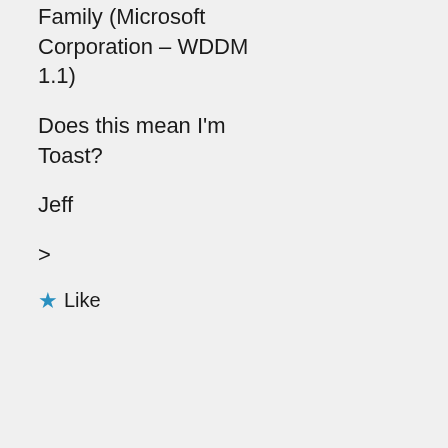Family (Microsoft Corporation – WDDM 1.1)
Does this mean I'm Toast?
Jeff
>
★ Like
Privacy & Cookies: This site uses cookies. By continuing to use this website, you agree to their use.
To find out more, including how to control cookies, see here: Cookie Policy